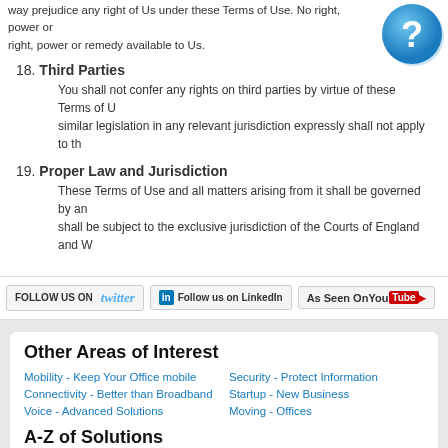way prejudice any right of Us under these Terms of Use. No right, power or remedy available to Us.
18. Third Parties
You shall not confer any rights on third parties by virtue of these Terms of Use. similar legislation in any relevant jurisdiction expressly shall not apply to th
19. Proper Law and Jurisdiction
These Terms of Use and all matters arising from it shall be governed by an shall be subject to the exclusive jurisdiction of the Courts of England and W
[Figure (illustration): Blue circular help icon with a white question mark]
FOLLOW US ON twitter | Follow us on LinkedIn | As Seen On YouTube
Other Areas of Interest
Mobility - Keep Your Office mobile
Security - Protect Information
Connectivity - Better than Broadband
Startup - New Business
Voice - Advanced Solutions
Moving - Offices
A-Z of Solutions
2 to 12 User Business Phone System
Fibre Ethernet 10Mbps Internet
20 to 50 User Business Phone System
Fibre Ethernet 10Mbps VPN